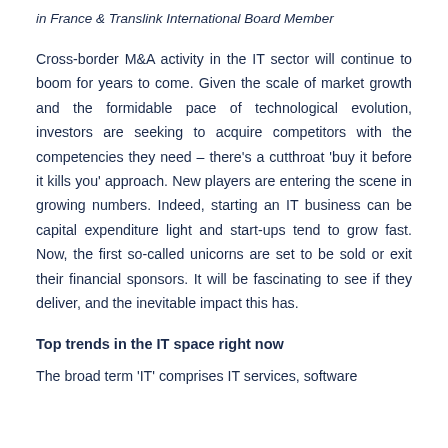in France & Translink International Board Member
Cross-border M&A activity in the IT sector will continue to boom for years to come. Given the scale of market growth and the formidable pace of technological evolution, investors are seeking to acquire competitors with the competencies they need – there's a cutthroat 'buy it before it kills you' approach. New players are entering the scene in growing numbers. Indeed, starting an IT business can be capital expenditure light and start-ups tend to grow fast. Now, the first so-called unicorns are set to be sold or exit their financial sponsors. It will be fascinating to see if they deliver, and the inevitable impact this has.
Top trends in the IT space right now
The broad term 'IT' comprises IT services, software